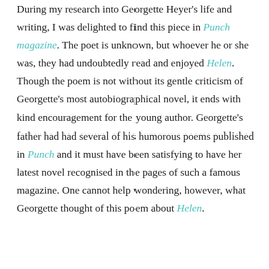During my research into Georgette Heyer's life and writing, I was delighted to find this piece in Punch magazine. The poet is unknown, but whoever he or she was, they had undoubtedly read and enjoyed Helen. Though the poem is not without its gentle criticism of Georgette's most autobiographical novel, it ends with kind encouragement for the young author. Georgette's father had had several of his humorous poems published in Punch and it must have been satisfying to have her latest novel recognised in the pages of such a famous magazine. One cannot help wondering, however, what Georgette thought of this poem about Helen.